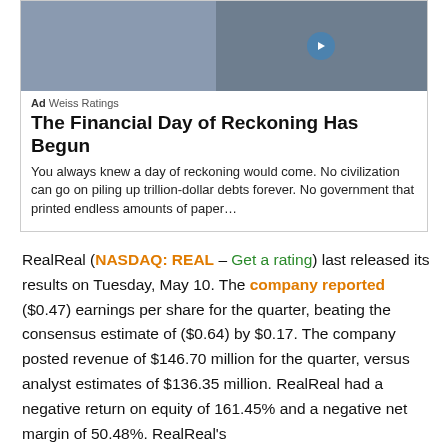[Figure (other): Advertisement box with video thumbnail showing two people, play button overlay, and text content for Weiss Ratings financial advertisement]
RealReal (NASDAQ: REAL – Get a rating) last released its results on Tuesday, May 10. The company reported ($0.47) earnings per share for the quarter, beating the consensus estimate of ($0.64) by $0.17. The company posted revenue of $146.70 million for the quarter, versus analyst estimates of $136.35 million. RealReal had a negative return on equity of 161.45% and a negative net margin of 50.48%. RealReal's